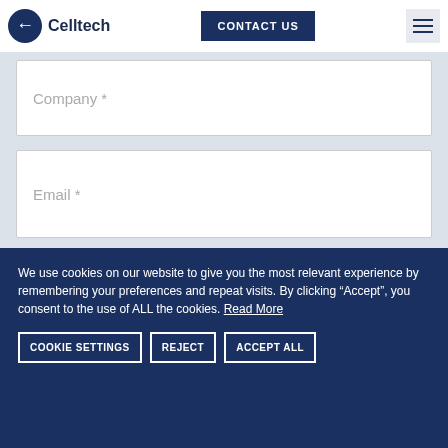[Figure (logo): Celltech logo with dark navy circle containing a stylized C arrow and Celltech text]
CONTACT US
Company *
Email *
Message
We use cookies on our website to give you the most relevant experience by remembering your preferences and repeat visits. By clicking “Accept”, you consent to the use of ALL the cookies. Read More
COOKIE SETTINGS
REJECT
ACCEPT ALL